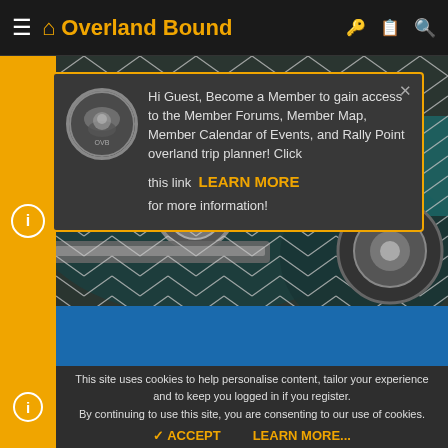Overland Bound
[Figure (screenshot): Hero image showing a vintage car behind a chain-link fence, teal/green car with chrome headlights visible through diamond wire mesh]
Hi Guest, Become a Member to gain access to the Member Forums, Member Map, Member Calendar of Events, and Rally Point overland trip planner! Click this link LEARN MORE for more information!
This site uses cookies to help personalise content, tailor your experience and to keep you logged in if you register. By continuing to use this site, you are consenting to our use of cookies.
✓ ACCEPT   LEARN MORE...